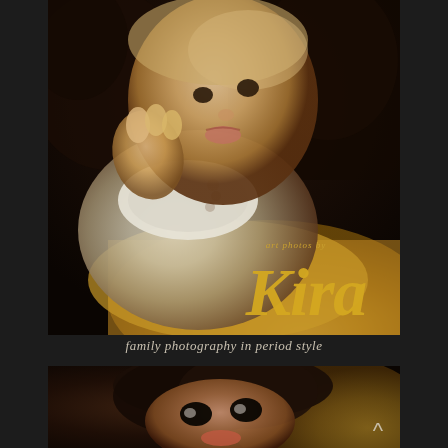[Figure (photo): Portrait photograph of a young toddler/baby dressed in vintage period-style clothing with lace and ornate buttons. The child has light curly hair and is posed against a dark ornate background. Overlaid text reads 'art photos by Kira' in golden/yellow italic script.]
family photography in period style
[Figure (photo): Portrait photograph of a young dark-haired girl with curly hair, looking directly at the camera with large dark eyes. The photo has a warm golden/brown tone and vintage period style. A small upward-pointing arrow (^) is visible in the lower right corner.]